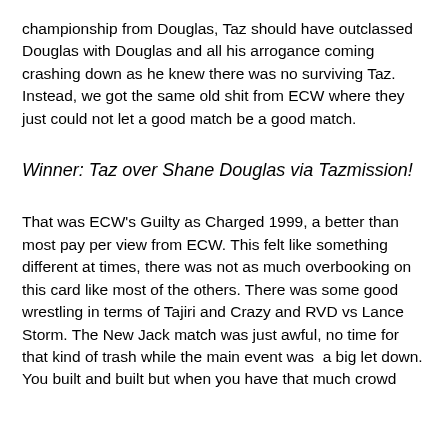championship from Douglas, Taz should have outclassed Douglas with Douglas and all his arrogance coming crashing down as he knew there was no surviving Taz. Instead, we got the same old shit from ECW where they just could not let a good match be a good match.
Winner: Taz over Shane Douglas via Tazmission!
That was ECW's Guilty as Charged 1999, a better than most pay per view from ECW. This felt like something different at times, there was not as much overbooking on this card like most of the others. There was some good wrestling in terms of Tajiri and Crazy and RVD vs Lance Storm. The New Jack match was just awful, no time for that kind of trash while the main event was  a big let down. You built and built but when you have that much crowd